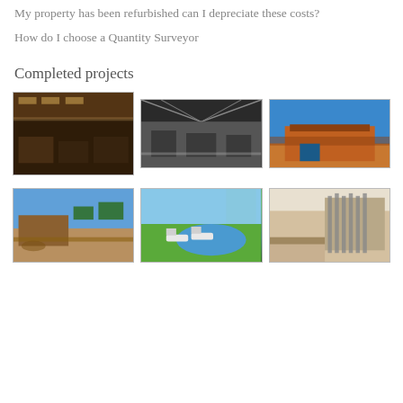My property has been refurbished can I depreciate these costs?
How do I choose a Quantity Surveyor
Completed projects
[Figure (photo): Interior of a restaurant with wooden ceiling, booths and chairs]
[Figure (photo): Industrial warehouse interior with large roof structure]
[Figure (photo): Exterior of a building with red/orange cladding under blue sky]
[Figure (photo): Exterior of a rural building with trees and dirt ground under blue sky]
[Figure (photo): Outdoor pool area with white lounge chairs on green grass]
[Figure (photo): Modern interior with vertical metallic fins and wooden features]